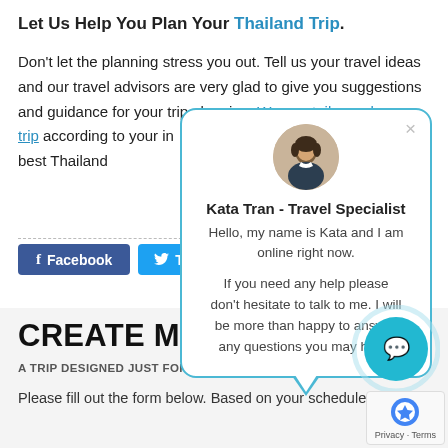Let Us Help You Plan Your Thailand Trip.
Don't let the planning stress you out. Tell us your travel ideas and our travel advisors are very glad to give you suggestions and guidance for your trip planning. We can tailor-make your trip according to your interests and budget to create the best Thailand...
[Figure (screenshot): Chat popup with avatar photo of Kata Tran - Travel Specialist, with greeting message and offer to help]
Kata Tran - Travel Specialist
Hello, my name is Kata and I am online right now.

If you need any help please don't hesitate to talk to me. I will be more than happy to answer any questions you may have!
[Figure (infographic): Facebook and Twitter share buttons]
CREATE MY TRIP
A TRIP DESIGNED JUST FOR YOU? LET'S GET STARTED
Please fill out the form below. Based on your schedule, your